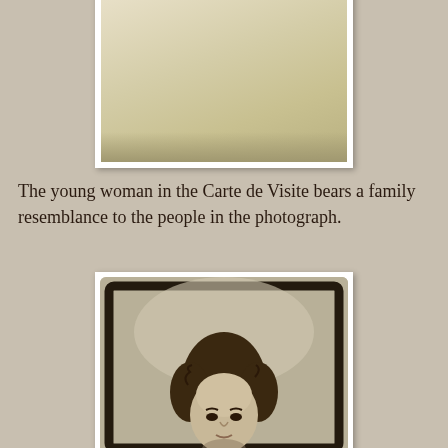[Figure (photo): Top portion of a Carte de Visite showing a blank/faded yellowish photographic surface with age spots and discoloration, mounted on white card with white border]
The young woman in the Carte de Visite bears a family resemblance to the people in the photograph.
[Figure (photo): Portrait photograph mounted on card with dark rounded rectangular frame border, showing the head and upper face of a young woman with dark curly/wavy hair, looking directly at camera, in sepia/monochrome tones]